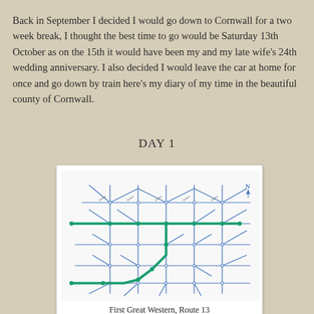Back in September I decided I would go down to Cornwall for a two week break, I thought the best time to go would be Saturday 13th October as on the 15th it would have been my and my late wife’s 24th wedding anniversary. I also decided I would leave the car at home for once and go down by train here's my diary of my time in the beautiful county of Cornwall.
DAY 1
[Figure (map): First Great Western Route 13 rail network map showing train lines in blue with a highlighted green route through the network.]
First Great Western, Route 13